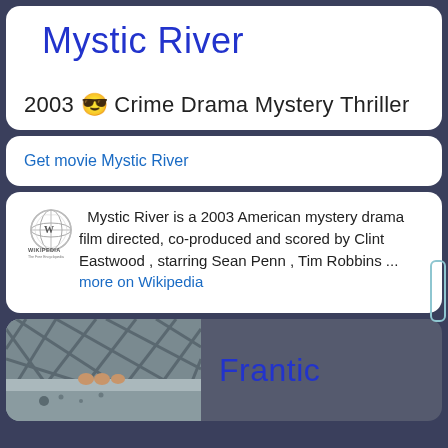Mystic River
2003 😎 Crime Drama Mystery Thriller
Get movie Mystic River
[Figure (logo): Wikipedia globe logo with 'WIKIPEDIA The Free Encyclopedia' text]
Mystic River is a 2003 American mystery drama film directed, co-produced and scored by Clint Eastwood , starring Sean Penn , Tim Robbins ... more on Wikipedia
Frantic